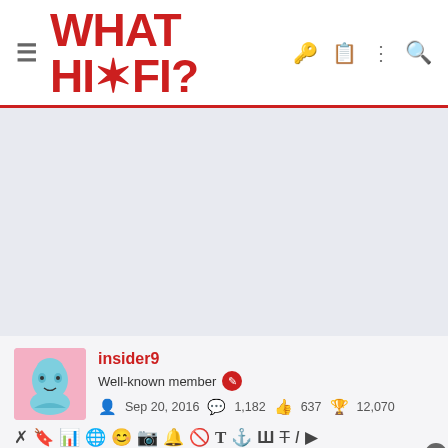WHAT HI·FI?
[Figure (other): Advertisement placeholder area — light grey/blue background]
insider9
Well-known member
Sep 20, 2016  1,182  637  12,070